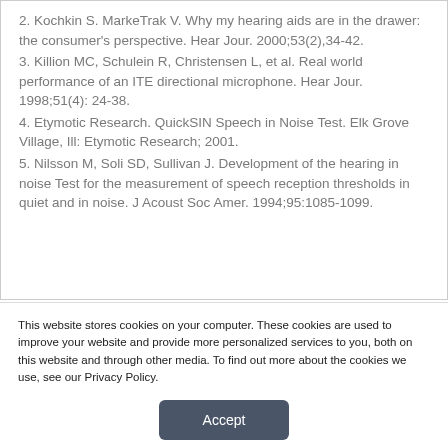2. Kochkin S. MarkeTrak V. Why my hearing aids are in the drawer: the consumer's perspective. Hear Jour. 2000;53(2),34-42.
3. Killion MC, Schulein R, Christensen L, et al. Real world performance of an ITE directional microphone. Hear Jour. 1998;51(4): 24-38.
4. Etymotic Research. QuickSIN Speech in Noise Test. Elk Grove Village, Ill: Etymotic Research; 2001.
5. Nilsson M, Soli SD, Sullivan J. Development of the hearing in noise Test for the measurement of speech reception thresholds in quiet and in noise. J Acoust Soc Amer. 1994;95:1085-1099.
This website stores cookies on your computer. These cookies are used to improve your website and provide more personalized services to you, both on this website and through other media. To find out more about the cookies we use, see our Privacy Policy.